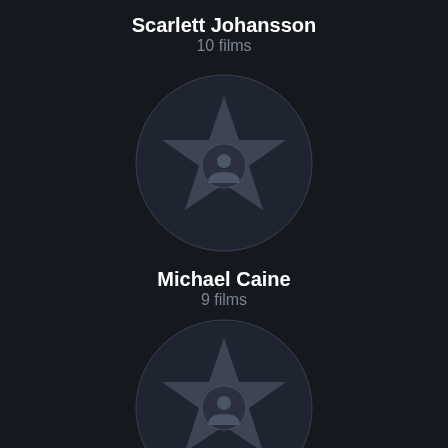Scarlett Johansson
10 films
[Figure (illustration): Circular avatar placeholder with a star/person icon on dark background for Scarlett Johansson]
Michael Caine
9 films
[Figure (illustration): Circular avatar placeholder with a star/person icon on dark background for Michael Caine]